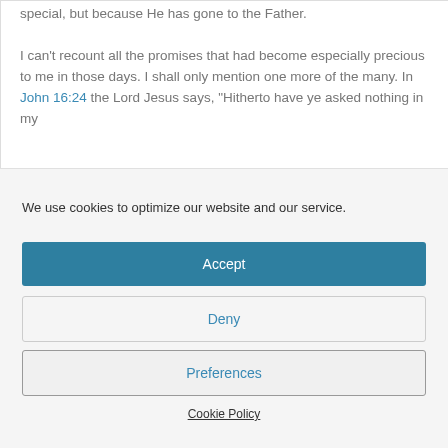special, but because He has gone to the Father. I can't recount all the promises that had become especially precious to me in those days. I shall only mention one more of the many. In John 16:24 the Lord Jesus says, “Hitherto have ye asked nothing in my name…”
We use cookies to optimize our website and our service.
Accept
Deny
Preferences
Cookie Policy